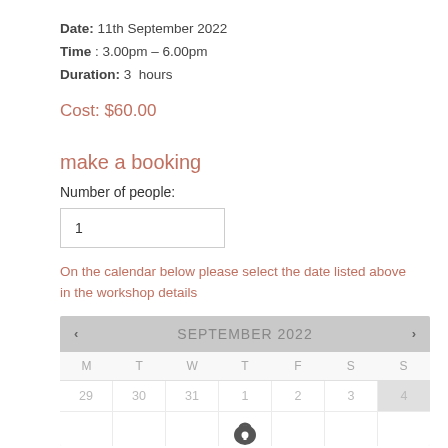Date: 11th September 2022
Time : 3.00pm – 6.00pm
Duration: 3  hours
Cost: $60.00
make a booking
Number of people:
1
On the calendar below please select the date listed above in the workshop details
[Figure (other): September 2022 calendar widget showing M T W T F S S day headers and a row with dates 29, 30, 31, 1, 2, 3, 4 (last column highlighted), and a partial row beginning with a key/lock icon under Thursday column]